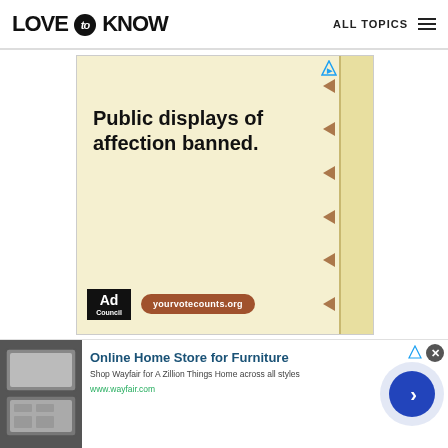[Figure (screenshot): LoveToKnow website header with logo 'LOVE to KNOW', navigation showing 'ALL TOPICS' and hamburger menu]
[Figure (infographic): Ad Council advertisement on notepad-style background with spiral binding. Text reads 'Public displays of affection banned.' with brown arrows pointing left, Ad Council logo, and 'yourvotecounts.org' button]
[Figure (infographic): Wayfair advertisement banner: 'Online Home Store for Furniture. Shop Wayfair for A Zillion Things Home across all styles. www.wayfair.com' with furniture image, close button X, and blue arrow circle button]